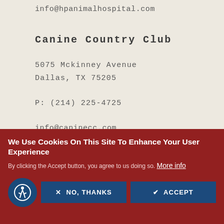info@hpanimalhospital.com
Canine Country Club
5075 Mckinney Avenue
Dallas, TX 75205
P: (214) 225-4725
info@caninecc.com
HOW ARE WE DOING?
We Use Cookies On This Site To Enhance Your User Experience
By clicking the Accept button, you agree to us doing so. More info
NO, THANKS
ACCEPT